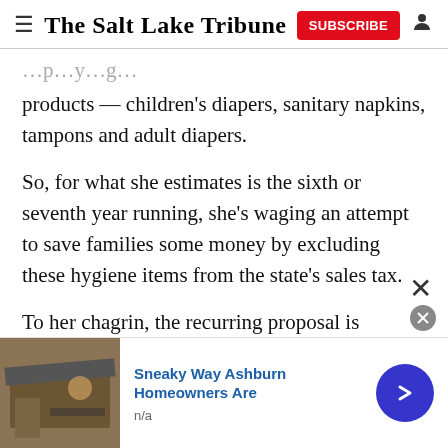The Salt Lake Tribune
products — children's diapers, sanitary napkins, tampons and adult diapers.
So, for what she estimates is the sixth or seventh year running, she's waging an attempt to save families some money by excluding these hygiene items from the state's sales tax.
To her chagrin, the recurring proposal is colloquially known as the “tampon tax exemption bill.” And she’s
[Figure (other): Advertisement banner: Sneaky Way Ashburn Homeowners Are, n/a, with a roofing image and blue arrow button]